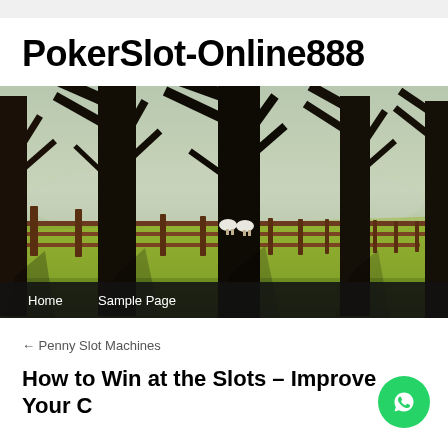PokerSlot-Online888
[Figure (photo): Outdoor countryside scene with large bare-branched trees in a row, a wooden fence in the middle ground, green grass, and two sheep visible in the background. Navigation bar overlay at bottom with Home and Sample Page links.]
← Penny Slot Machines
How to Win at the Slots – Improve Your C